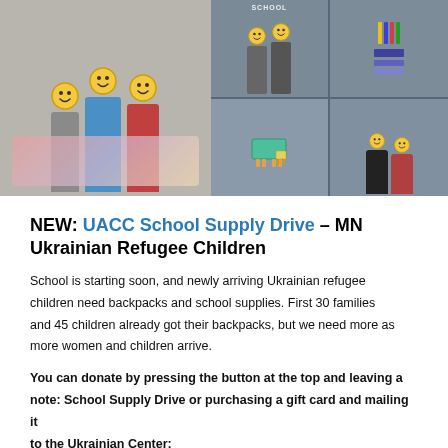[Figure (photo): Photo collage showing Ukrainian refugee families with backpacks and school supplies. Left side: three women holding blankets and packaged items. Right side grid: top row shows two women with backpacks, school supplies image, and a person with a backpack; bottom row shows children wearing backpacks from behind.]
NEW: UACC School Supply Drive – MN Ukrainian Refugee Children
School is starting soon, and newly arriving Ukrainian refugee children need backpacks and school supplies. First 30 families and 45 children already got their backpacks, but we need more as more women and children arrive.
You can donate by pressing the button at the top and leaving a note: School Supply Drive or purchasing a gift card and mailing it to the Ukrainian Center: